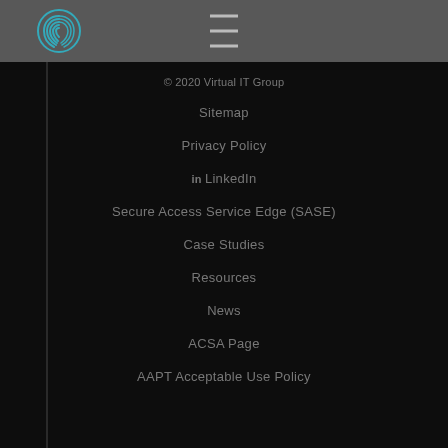[Figure (logo): Virtual IT Group fingerprint logo in teal/blue on dark gray header bar with hamburger menu icon]
© 2020 Virtual IT Group
Sitemap
Privacy Policy
LinkedIn
Secure Access Service Edge (SASE)
Case Studies
Resources
News
ACSA Page
AAPT Acceptable Use Policy